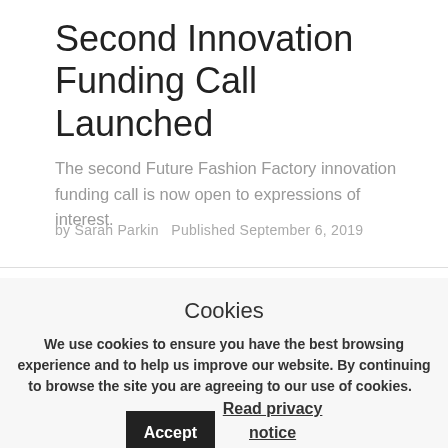Second Innovation Funding Call Launched
The second Future Fashion Factory innovation funding call is now open to expressions of interest.
by Sarah Parkin   Published September 6, 2019
Cookies
We use cookies to ensure you have the best browsing experience and to help us improve our website. By continuing to browse the site you are agreeing to our use of cookies.
Accept
Read privacy notice